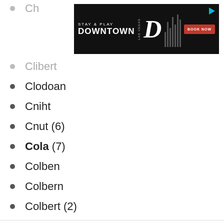[Figure (other): Advertisement banner: 'STAY & PLAY DOWNTOWN the D Las Vegas BOOK NOW' on black background with red button]
Clibert
Clodoan
Cniht
Cnut (6)
Cola (7)
Colben
Colbern
Colbert (2)
We use cookies on our website to give you the most relevant experience by remembering your preferences and repeat visits. By clicking “Accept”, you consent to the use of ALL the cookies.
Do not sell my personal information.